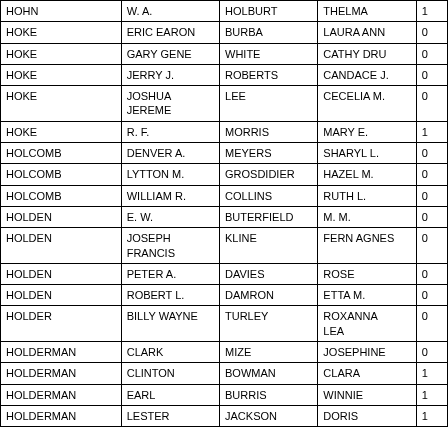| Last Name | First Name | Spouse Last | Spouse First | Col5 |
| --- | --- | --- | --- | --- |
| HOHN | W. A. | HOLBURT | THELMA | 1 |
| HOKE | ERIC EARON | BURBA | LAURA ANN | 0 |
| HOKE | GARY GENE | WHITE | CATHY DRU | 0 |
| HOKE | JERRY J. | ROBERTS | CANDACE J. | 0 |
| HOKE | JOSHUA JEREME | LEE | CECELIA M. | 0 |
| HOKE | R. F. | MORRIS | MARY E. | 1 |
| HOLCOMB | DENVER A. | MEYERS | SHARYL L. | 0 |
| HOLCOMB | LYTTON M. | GROSDIDIER | HAZEL M. | 0 |
| HOLCOMB | WILLIAM R. | COLLINS | RUTH L. | 0 |
| HOLDEN | E. W. | BUTERFIELD | M. M. | 0 |
| HOLDEN | JOSEPH FRANCIS | KLINE | FERN AGNES | 0 |
| HOLDEN | PETER A. | DAVIES | ROSE | 0 |
| HOLDEN | ROBERT L. | DAMRON | ETTA M. | 0 |
| HOLDER | BILLY WAYNE | TURLEY | ROXANNA LEA | 0 |
| HOLDERMAN | CLARK | MIZE | JOSEPHINE | 0 |
| HOLDERMAN | CLINTON | BOWMAN | CLARA | 1 |
| HOLDERMAN | EARL | BURRIS | WINNIE | 1 |
| HOLDERMAN | LESTER | JACKSON | DORIS | 1 |